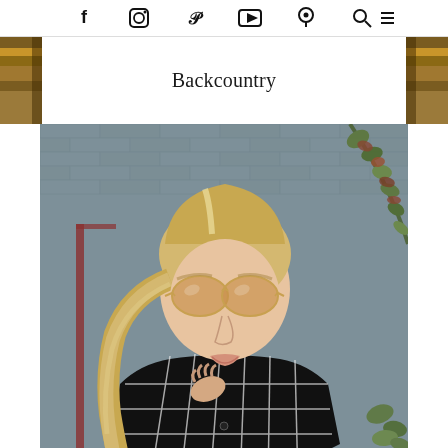Social media navigation icons: Facebook, Instagram, Pinterest, YouTube, and other icons, plus search and menu
Backcountry
[Figure (photo): A blonde woman wearing aviator sunglasses and a black plaid/grid-pattern oversized jacket or shacket, standing in front of a grey brick wall with ivy/vines. She has her hair in a ponytail and is touching her hair. The photo is a fashion/lifestyle blog post image.]